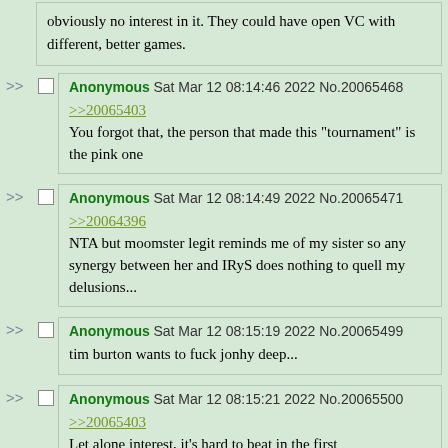obviously no interest in it. They could have open VC with different, better games.
Anonymous Sat Mar 12 08:14:46 2022 No.20065468
>>20065403
You forgot that, the person that made this "tournament" is the pink one
Anonymous Sat Mar 12 08:14:49 2022 No.20065471
>>20064396
NTA but moomster legit reminds me of my sister so any synergy between her and IRyS does nothing to quell my delusions...
Anonymous Sat Mar 12 08:15:19 2022 No.20065499
tim burton wants to fuck jonhy deep...
Anonymous Sat Mar 12 08:15:21 2022 No.20065500
>>20065403
Let alone interest, it's hard to beat in the first